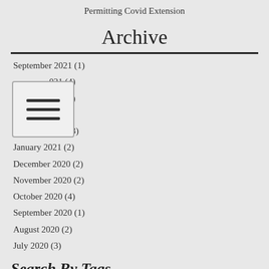Permitting Covid Extension
Archive
September 2021 (1)
2021 (4)
2021 (1)
March 2021 (1)
February 2021 (3)
January 2021 (2)
December 2020 (2)
November 2020 (2)
October 2020 (4)
September 2020 (1)
August 2020 (2)
July 2020 (3)
Search By Tags
A3 Tool   AHMP   Air   Air Contaminants